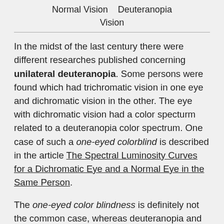Normal Vision   Deuteranopia
Vision
In the midst of the last century there were different researches published concerning unilateral deuteranopia. Some persons were found which had trichromatic vision in one eye and dichromatic vision in the other. The eye with dichromatic vision had a color specturm related to a deuteranopia color spectrum. One case of such a one-eyed colorblind is described in the article The Spectral Luminosity Curves for a Dichromatic Eye and a Normal Eye in the Same Person.
The one-eyed color blindness is definitely not the common case, whereas deuteranopia and especially deuteranomaly are the most observed